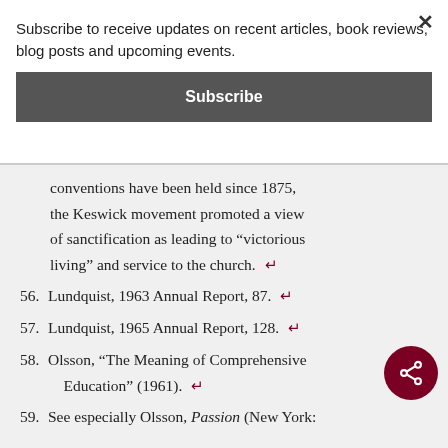Subscribe to receive updates on recent articles, book reviews, blog posts and upcoming events.
Subscribe
conventions have been held since 1875, the Keswick movement promoted a view of sanctification as leading to “victorious living” and service to the church.
56. Lundquist, 1963 Annual Report, 87.
57. Lundquist, 1965 Annual Report, 128.
58. Olsson, “The Meaning of Comprehensive Education” (1961).
59. See especially Olsson, Passion (New York: